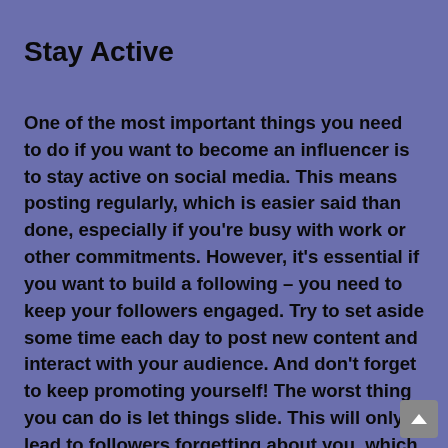Stay Active
One of the most important things you need to do if you want to become an influencer is to stay active on social media. This means posting regularly, which is easier said than done, especially if you're busy with work or other commitments. However, it's essential if you want to build a following – you need to keep your followers engaged. Try to set aside some time each day to post new content and interact with your audience. And don't forget to keep promoting yourself! The worst thing you can do is let things slide. This will only lead to followers forgetting about you, which is the opposite of what you want.